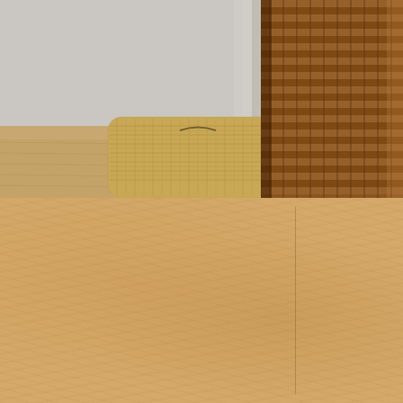[Figure (photo): Close-up photo of a wicker basket with burlap fabric on a wooden surface, warm brown tones]
FeedBurner FeedCount
[Figure (screenshot): FeedBurner badge showing 74 readers with BY FEEDBURNER label]
Search This Blog
[Figure (screenshot): Search input box with Search button]
Paratus Familia Resources
Tuesday, January 7, 2014
Product Rev
[Figure (photo): American flag with stars visible, with text overlay reading Protecting]